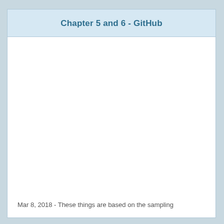Chapter 5 and 6 - GitHub
Mar 8, 2018 - These things are based on the sampling